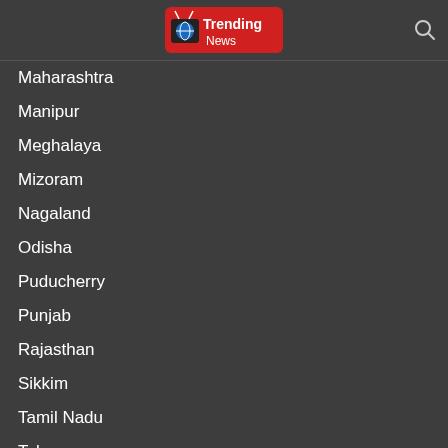Trending News
Maharashtra
Manipur
Meghalaya
Mizoram
Nagaland
Odisha
Puducherry
Punjab
Rajasthan
Sikkim
Tamil Nadu
Telangana
ENTERTAINMENT